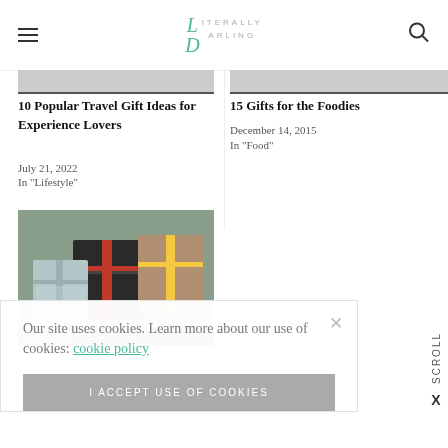Literally Darling
10 Popular Travel Gift Ideas for Experience Lovers
July 21, 2022
In "Lifestyle"
15 Gifts for the Foodies
December 14, 2015
In "Food"
[Figure (photo): Wrapped gift boxes with ribbons and holiday wrapping paper]
Our site uses cookies. Learn more about our use of cookies: cookie policy
I ACCEPT USE OF COOKIES